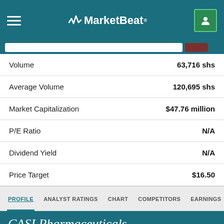MarketBeat
| Metric | Value |
| --- | --- |
| Volume | 63,716 shs |
| Average Volume | 120,695 shs |
| Market Capitalization | $47.76 million |
| P/E Ratio | N/A |
| Dividend Yield | N/A |
| Price Target | $16.50 |
PROFILE  ANALYST RATINGS  CHART  COMPETITORS  EARNINGS  FINANCIAL
CASI Pharmaceuticals MarketBeat™ Forecast